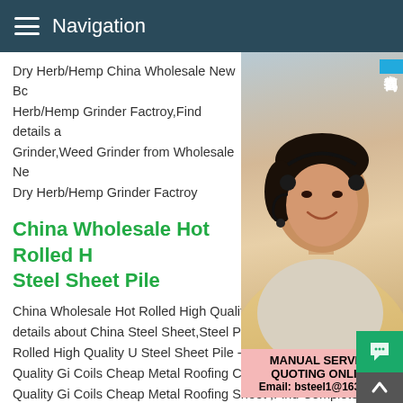Navigation
Dry Herb/Hemp China Wholesale New Bc Herb/Hemp Grinder Factroy,Find details a Grinder,Weed Grinder from Wholesale Ne Dry Herb/Hemp Grinder Factroy
[Figure (photo): Customer service representative woman wearing headset, smiling, with Chinese text overlay reading 在线咨询 and pink service box below reading MANUAL SERVICE, QUOTING ONLINE, Email: bsteel1@163.com]
China Wholesale Hot Rolled H Steel Sheet Pile
China Wholesale Hot Rolled High Quality details about China Steel Sheet,Steel Pro Rolled High Quality U Steel Sheet Pile -Ch Quality Gi Coils Cheap Metal Roofing Chi Quality Gi Coils Cheap Metal Roofing Sheet ,Find Complete Details about China Wholesale High Quality Gi Coils Cheap Metal Roofing Sheet,Gi Coils Cheap Metal Roofing Sheet,Galvanized And Coated,Gi Steel Coil from Supplier or Manufacturer-Shenyang Lanying Colored SteelChina Wholesale High Quality Galvaniz